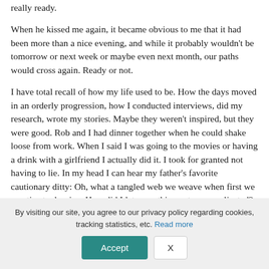really ready.
When he kissed me again, it became obvious to me that it had been more than a nice evening, and while it probably wouldn't be tomorrow or next week or maybe even next month, our paths would cross again. Ready or not.
I have total recall of how my life used to be. How the days moved in an orderly progression, how I conducted interviews, did my research, wrote my stories. Maybe they weren't inspired, but they were good. Rob and I had dinner together when he could shake loose from work. When I said I was going to the movies or having a drink with a girlfriend I actually did it. I took for granted not having to lie. In my head I can hear my father's favorite cautionary ditty: Oh, what a tangled web we weave when first we practice to deceive. How did I let everything get so complicated? And why?
It's not as if Rob and I were miserable. Sometimes everything
By visiting our site, you agree to our privacy policy regarding cookies, tracking statistics, etc. Read more
Accept   X